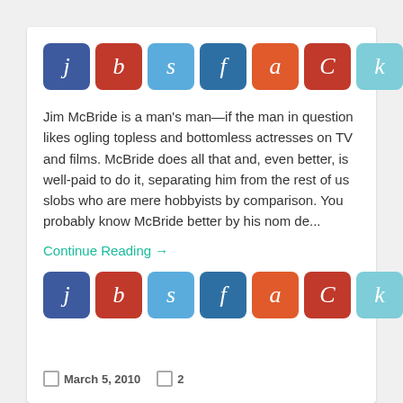[Figure (other): Row of 8 social sharing icon buttons with letters: j (blue), b (red), s (light blue), f (dark blue), a (orange-red), C (red), k (light cyan), r (dark slate)]
Jim McBride is a man's man—if the man in question likes ogling topless and bottomless actresses on TV and films. McBride does all that and, even better, is well-paid to do it, separating him from the rest of us slobs who are mere hobbyists by comparison. You probably know McBride better by his nom de...
Continue Reading →
[Figure (other): Row of 8 social sharing icon buttons with letters: j (blue), b (red), s (light blue), f (dark blue), a (orange-red), C (red), k (light cyan), r (dark slate)]
March 5, 2010   2